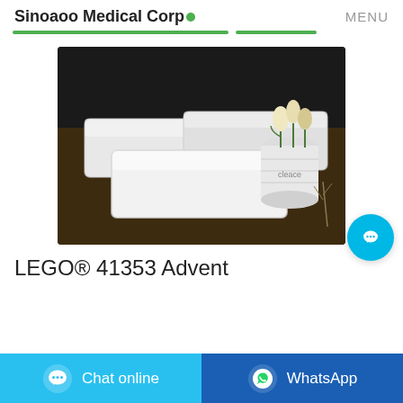Sinoaoo Medical Corp
[Figure (photo): Stacked packages of white medical/facial tissue pads in clear plastic wrapping on a dark wooden surface, with a white ceramic flower vase labeled 'cleace' containing cream-colored tulips in the background.]
LEGO® 41353 Advent
Chat online
WhatsApp